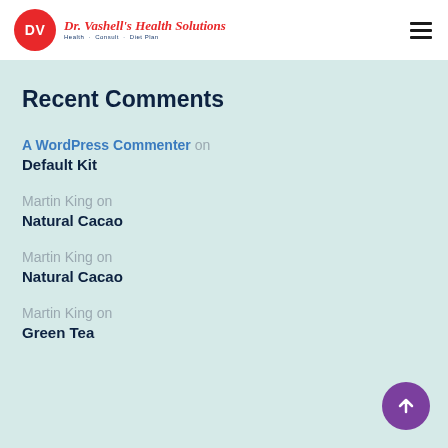DV — Dr. Vashell's Health Solutions
Recent Comments
A WordPress Commenter on Default Kit
Martin King on Natural Cacao
Martin King on Natural Cacao
Martin King on Green Tea